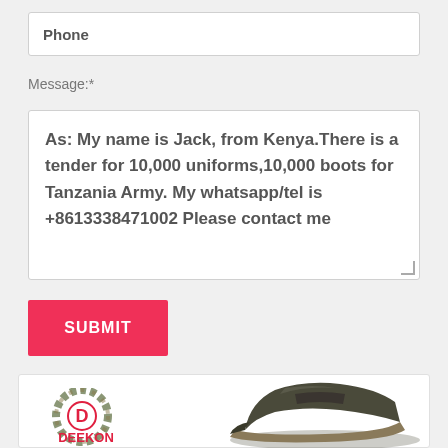Phone
Message:*
As: My name is Jack, from Kenya.There is a tender for 10,000 uniforms,10,000 boots for Tanzania Army. My whatsapp/tel is +8613338471002 Please contact me
SUBMIT
[Figure (logo): DEEKON logo with circular camouflage emblem and red D letter]
[Figure (photo): Dark olive/khaki leather loafer shoe]